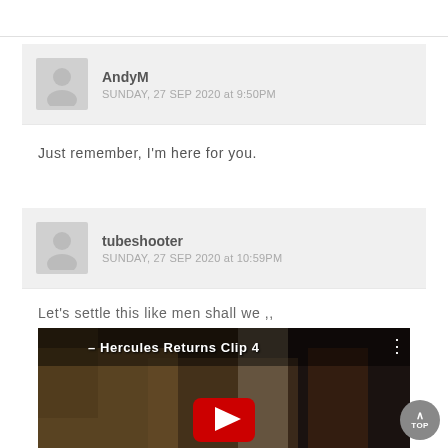AndyM
SUNDAY, 27 SEP 2020 at 9:50PM
Just remember, I'm here for you.
tubeshooter
SUNDAY, 27 SEP 2020 at 10:59PM
Let's settle this like men shall we ,,
[Figure (screenshot): YouTube video thumbnail for 'Hercules Returns Clip 4' showing a group of people in a scene with a YouTube play button overlay.]